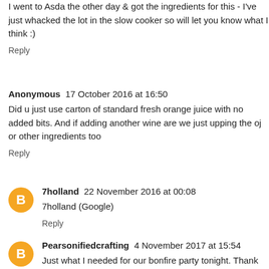I went to Asda the other day & got the ingredients for this - I've just whacked the lot in the slow cooker so will let you know what I think :)
Reply
Anonymous  17 October 2016 at 16:50
Did u just use carton of standard fresh orange juice with no added bits. And if adding another wine are we just upping the oj or other ingredients too
Reply
7holland  22 November 2016 at 00:08
7holland (Google)
Reply
Pearsonifiedcrafting  4 November 2017 at 15:54
Just what I needed for our bonfire party tonight. Thank you.